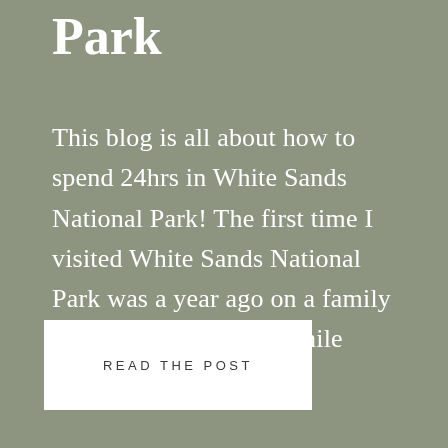Park
This blog is all about how to spend 24hrs in White Sands National Park! The first time I visited White Sands National Park was a year ago on a family road trip to the Hatch Chile
READ THE POST